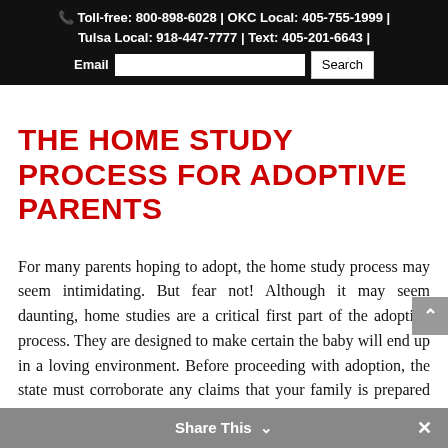Toll-free: 800-898-6028 | OKC Local: 405-755-1999 | Tulsa Local: 918-447-7777 | Text: 405-201-6643 | Email  Search
THE HOME STUDY PROCESS FOR ADOPTIVE PARENTS
For many parents hoping to adopt, the home study process may seem intimidating. But fear not! Although it may seem daunting, home studies are a critical first part of the adoption process. They are designed to make certain the baby will end up in a loving environment. Before proceeding with adoption, the state must corroborate any claims that your family is prepared for a new member.
Share This  ✕